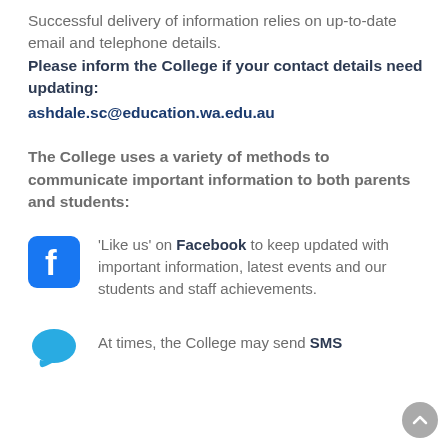Successful delivery of information relies on up-to-date email and telephone details. Please inform the College if your contact details need updating: ashdale.sc@education.wa.edu.au
The College uses a variety of methods to communicate important information to both parents and students:
[Figure (logo): Facebook icon - blue rounded square with white 'f' letter]
'Like us' on Facebook to keep updated with important information, latest events and our students and staff achievements.
[Figure (illustration): Blue speech bubble / chat icon representing SMS]
At times, the College may send SMS